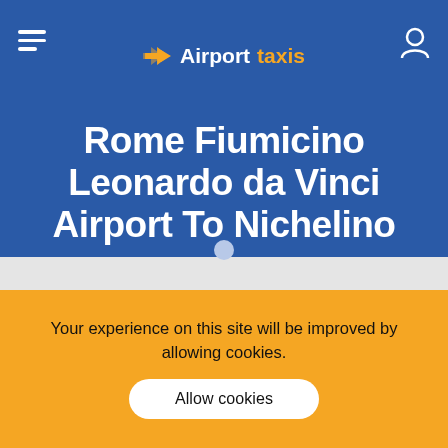Airport taxis
Rome Fiumicino Leonardo da Vinci Airport To Nichelino
[Figure (illustration): Route map illustration showing two location markers connected, with small car icons on a road/route graphic]
Your experience on this site will be improved by allowing cookies.
Allow cookies